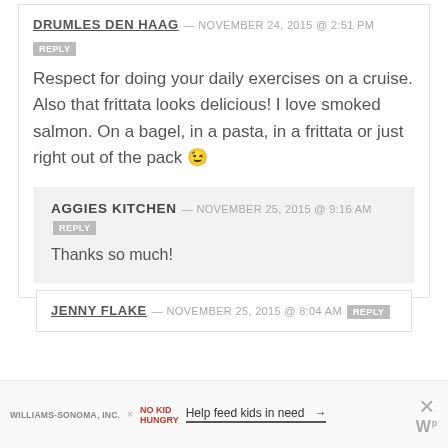DRUMLES DEN HAAG — NOVEMBER 24, 2015 @ 2:51 PM
REPLY
Respect for doing your daily exercises on a cruise. Also that frittata looks delicious! I love smoked salmon. On a bagel, in a pasta, in a frittata or just right out of the pack 😉
AGGIES KITCHEN — NOVEMBER 25, 2015 @ 9:16 AM REPLY
Thanks so much!
JENNY FLAKE — NOVEMBER 25, 2015 @ 8:04 AM REPLY
WILLIAMS-SONOMA, INC. × NO KID HUNGRY Help feed kids in need →